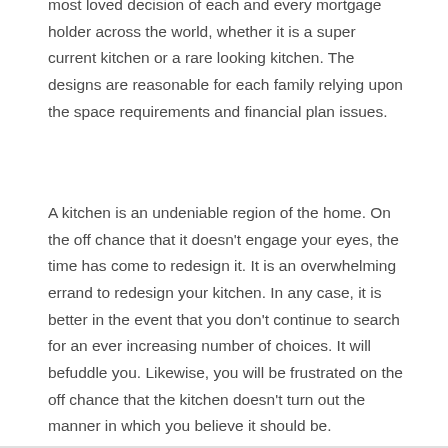most loved decision of each and every mortgage holder across the world, whether it is a super current kitchen or a rare looking kitchen. The designs are reasonable for each family relying upon the space requirements and financial plan issues.
A kitchen is an undeniable region of the home. On the off chance that it doesn't engage your eyes, the time has come to redesign it. It is an overwhelming errand to redesign your kitchen. In any case, it is better in the event that you don't continue to search for an ever increasing number of choices. It will befuddle you. Likewise, you will be frustrated on the off chance that the kitchen doesn't turn out the manner in which you believe it should be. Henceforth, rather than going for something that you have never envisioned, it is smarter to adhere to the evergreen styles and designs. They will not dishearten you and you'll have the option to effectively assemble your fantasy kitchen.